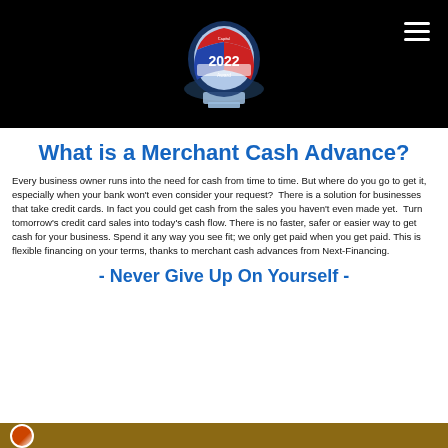[Figure (photo): 2022 award trophy/crystal on black navigation bar background with hamburger menu icon]
What is a Merchant Cash Advance?
Every business owner runs into the need for cash from time to time. But where do you go to get it, especially when your bank won't even consider your request?  There is a solution for businesses that take credit cards. In fact you could get cash from the sales you haven't even made yet.  Turn tomorrow's credit card sales into today's cash flow. There is no faster, safer or easier way to get cash for your business. Spend it any way you see fit; we only get paid when you get paid. This is flexible financing on your terms, thanks to merchant cash advances from Next-Financing.
- Never Give Up On Yourself -
[Figure (photo): Bottom gold/brown strip with partial circular logo]